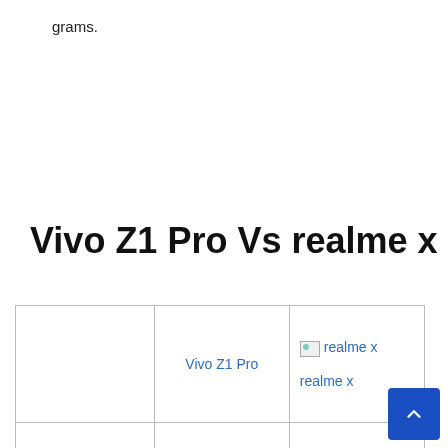grams.
Vivo Z1 Pro Vs realme x
|  | Vivo Z1 Pro | realme x |
| --- | --- | --- |
| Rating |  |  |
| Overall NDTV Rating |  |  |